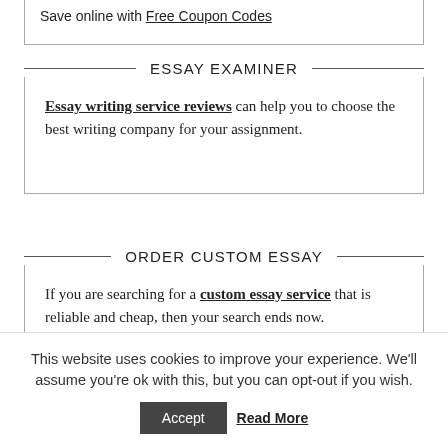Save online with Free Coupon Codes
ESSAY EXAMINER
Essay writing service reviews can help you to choose the best writing company for your assignment.
ORDER CUSTOM ESSAY
If you are searching for a custom essay service that is reliable and cheap, then your search ends now. CustomEssayOrder is the place where you can buy
This website uses cookies to improve your experience. We'll assume you're ok with this, but you can opt-out if you wish.